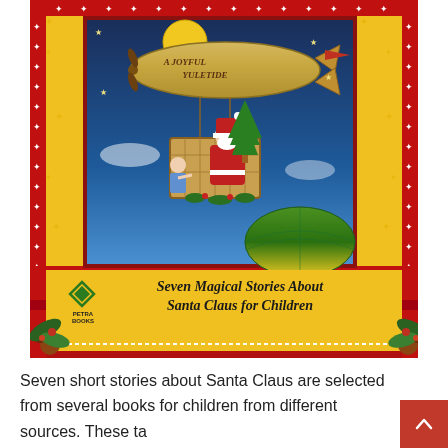[Figure (illustration): Book cover: vintage Christmas illustration of Santa Claus in a wicker balloon basket attached to a zeppelin/blimp labeled 'A Joyful Yuletide', with children, flying over a globe. Yellow background with red border and snowflake pattern. Bottom shows Petra Books logo and subtitle 'Seven Magical Stories About Santa Claus for Children'. Red star/dot strip at bottom.]
Seven short stories about Santa Claus are selected from several books for children from different sources. These ta